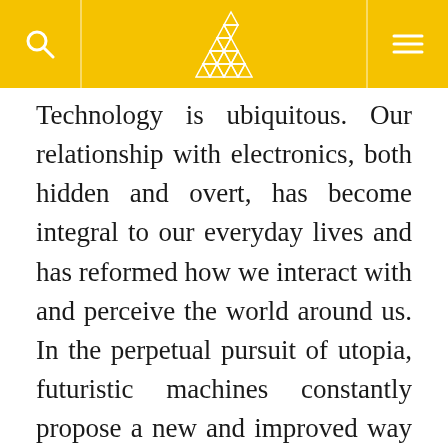[Logo] [Search] [Menu]
Technology is ubiquitous. Our relationship with electronics, both hidden and overt, has become integral to our everyday lives and has reformed how we interact with and perceive the world around us. In the perpetual pursuit of utopia, futuristic machines constantly propose a new and improved way of living. Some prospective technologies speculated to become part of our contemporary lives include flying cars, nanobots, and 3-D printed food. While many of these proposals seem to be more applicable to temporally distant societies, our rapidly